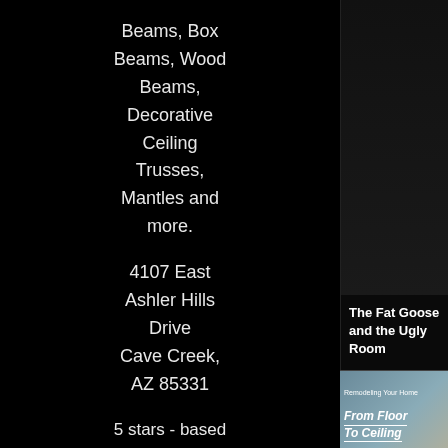Beams, Box Beams, Wood Beams, Decorative Ceiling Trusses, Mantles and more.
4107 East Ashler Hills Drive Cave Creek, AZ 85331
5 stars - based on 38 reviews
[Figure (photo): Dark/black photo area at top right]
The Fat Goose and the Ugly Room
[Figure (photo): Book cover: Remodeling Your Home From Floor To Ceiling]
Remodeling Your Home from Floor